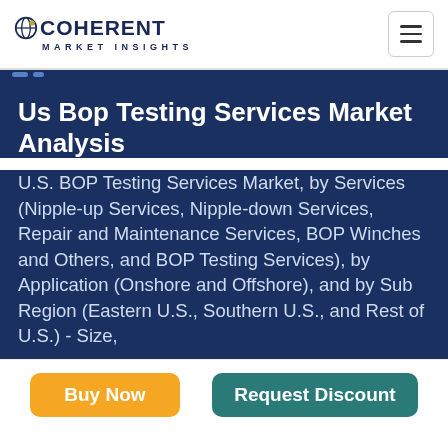COHERENT MARKET INSIGHTS
Us Bop Testing Services Market Analysis
U.S. BOP Testing Services Market, by Services (Nipple-up Services, Nipple-down Services, Repair and Maintenance Services, BOP Winches and Others, and BOP Testing Services), by Application (Onshore and Offshore), and by Sub Region (Eastern U.S., Southern U.S., and Rest of U.S.) - Size,
Buy Now
Request Discount